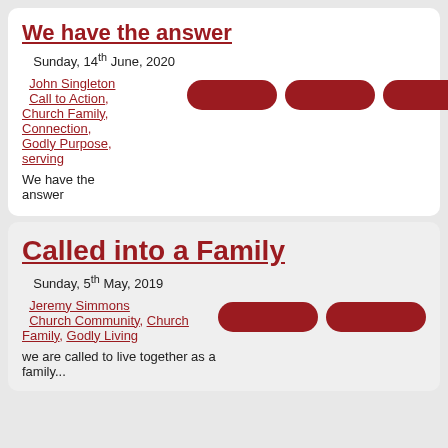We have the answer
Sunday, 14th June, 2020
John Singleton Call to Action, Church Family, Connection, Godly Purpose, serving
We have the answer
Called into a Family
Sunday, 5th May, 2019
Jeremy Simmons Church Community, Church Family, Godly Living
we are called to live together as a family...